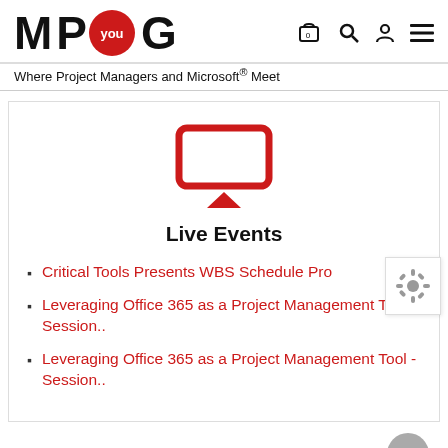M P you G — Where Project Managers and Microsoft® Meet
[Figure (illustration): Red monitor/display icon with a triangle (AirPlay-style icon) representing Live Events]
Live Events
Critical Tools Presents WBS Schedule Pro
Leveraging Office 365 as a Project Management Tool - Session..
Leveraging Office 365 as a Project Management Tool - Session..